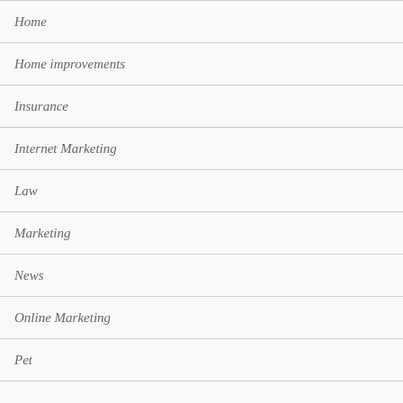Home
Home improvements
Insurance
Internet Marketing
Law
Marketing
News
Online Marketing
Pet